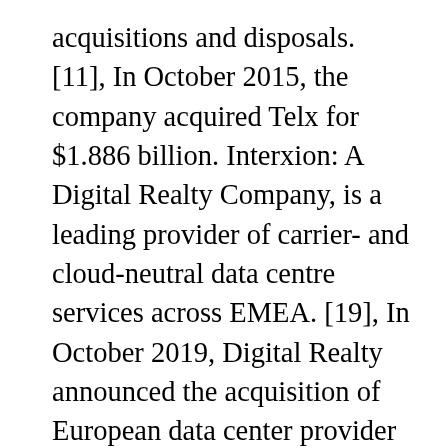acquisitions and disposals. [11], In October 2015, the company acquired Telx for $1.886 billion. Interxion: A Digital Realty Company, is a leading provider of carrier- and cloud-neutral data centre services across EMEA. [19], In October 2019, Digital Realty announced the acquisition of European data center provider Interxion for $8.4 billion to “create a leading global provider of data centre, colocation and interconnection solutions”. [12], In November 2015, the company acquired 125.9 acres of undeveloped land in Loudoun County